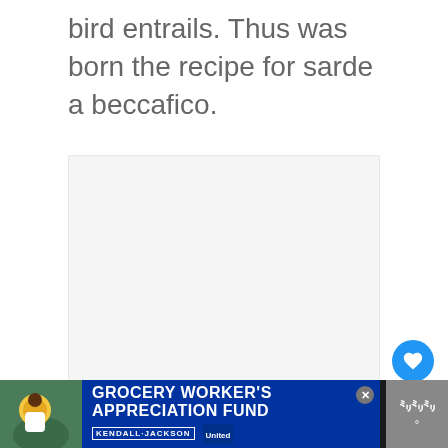bird entrails. Thus was born the recipe for sarde a beccafico.
[Figure (photo): Large image area (loading/blank) with three navigation dots below]
[Figure (infographic): What's Next panel: Italian Stuffed Calamari... with thumbnail]
[Figure (screenshot): Advertisement banner: Grocery Worker's Appreciation Fund, Kendall-Jackson, United Way]